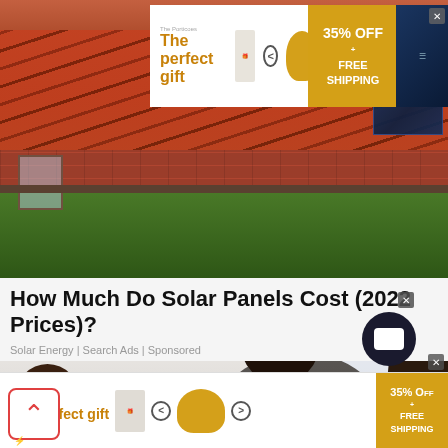[Figure (photo): Advertisement banner showing 'The perfect gift' with product images, navigation arrows, and '35% OFF + FREE SHIPPING' offer. Background shows solar panels.]
[Figure (photo): Hero photo of a house with red brick walls, terracotta roof tiles, solar panels, and green vegetation.]
How Much Do Solar Panels Cost (2022 Prices)?
Solar Energy | Search Ads | Sponsored
[Figure (photo): Photo of people in an office/bright room; a man with glasses and grey polo shirt smiling, with other people partially visible.]
[Figure (photo): Advertisement banner at bottom showing 'The perfect gift' with product images, navigation arrows, and '35% OFF + FREE SHIPPING' offer. Partially visible.]